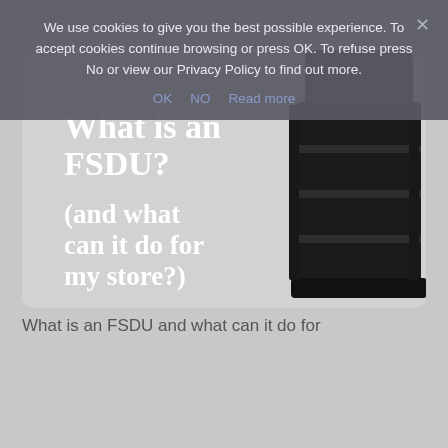We use cookies to give you the best possible experience. To accept cookies continue browsing or press OK. To refuse press No or view our Privacy Policy to find out more.
OK   NO   Read more
[Figure (photo): A dark black free-standing display unit (FSDU) with multiple shelves and a header board, on a grey background. White bold text overlaid reads: 'What is an FSDU? (and what can it do for my store?)']
What is an FSDU and what can it do for